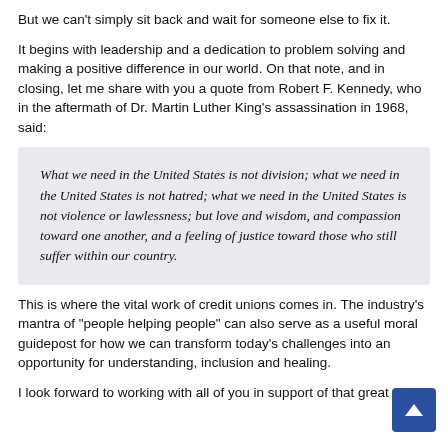But we can't simply sit back and wait for someone else to fix it.
It begins with leadership and a dedication to problem solving and making a positive difference in our world. On that note, and in closing, let me share with you a quote from Robert F. Kennedy, who in the aftermath of Dr. Martin Luther King's assassination in 1968, said:
What we need in the United States is not division; what we need in the United States is not hatred; what we need in the United States is not violence or lawlessness; but love and wisdom, and compassion toward one another, and a feeling of justice toward those who still suffer within our country.
This is where the vital work of credit unions comes in. The industry's mantra of "people helping people" can also serve as a useful moral guidepost for how we can transform today's challenges into an opportunity for understanding, inclusion and healing.
I look forward to working with all of you in support of that great